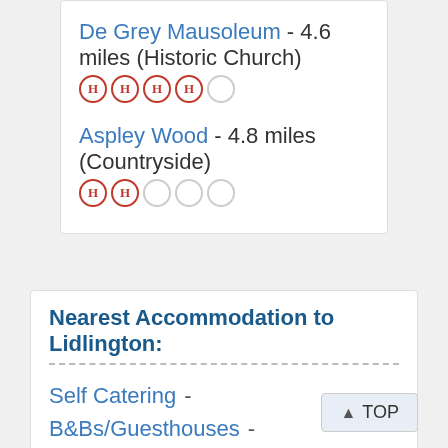De Grey Mausoleum - 4.6 miles (Historic Church) ★★★★☆
Aspley Wood - 4.8 miles (Countryside) ★★☆☆☆
Nearest Accommodation to Lidlington:
Self Catering  -  B&Bs/Guesthouses  -  Hotels